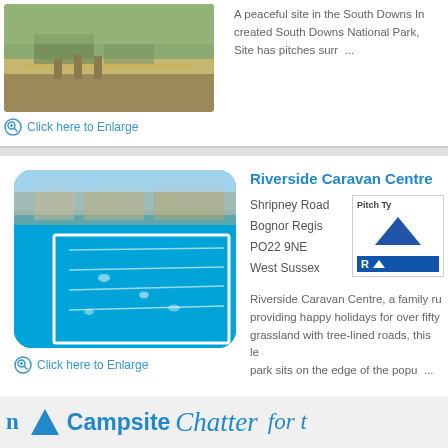[Figure (photo): Outdoor campsite area with picnic tables, grass, and a dirt path]
A peaceful site in the South Downs In... created South Downs National Park, ... Site has pitches surr  ...
Click here to Enlarge
Riverside Caravan Centre
Shripney Road
Bognor Regis
PO22 9NE
West Sussex
[Figure (photo): Outdoor swimming pool with swimmers, blue water, and buildings in background]
Riverside Caravan Centre, a family ru... providing happy holidays for over fifty... grassland with tree-lined roads, this le... park sits on the edge of the popu  ...
Click here to Enlarge
n  Campsite Chatter  for t